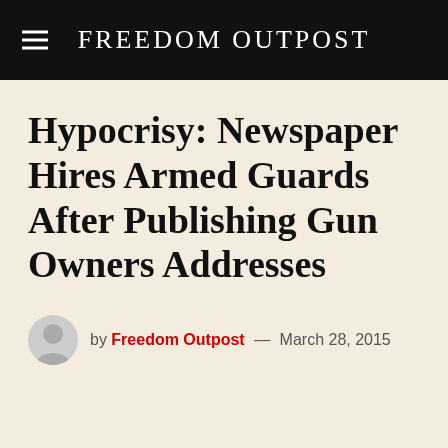FREEDOM OUTPOST
Hypocrisy: Newspaper Hires Armed Guards After Publishing Gun Owners Addresses
by Freedom Outpost — March 28, 2015